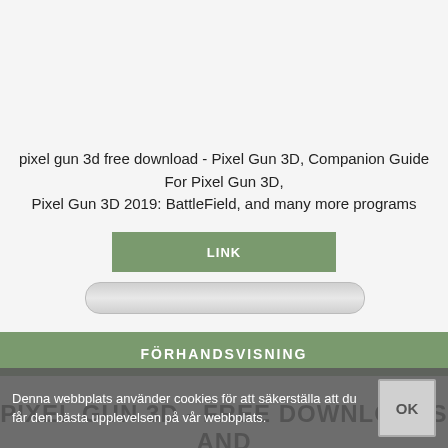pixel gun 3d free download - Pixel Gun 3D, Companion Guide For Pixel Gun 3D, Pixel Gun 3D 2019: BattleField, and many more programs
[Figure (screenshot): Green LINK button]
[Figure (screenshot): Gray rounded search/input bar]
[Figure (screenshot): Green FÖRHANDSVISNING button spanning full width]
PIXEL GUN 3D - FREE DOWNLOADS AND
Denna webbplats använder cookies för att säkerställa att du får den bästa upplevelsen på vår webbplats.
[Figure (screenshot): OK button in cookie bar]